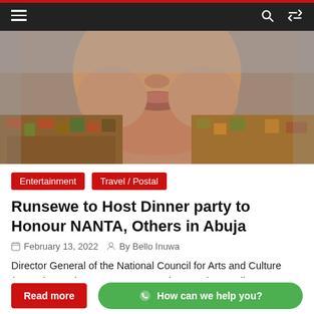Navigation bar with hamburger menu, search and shuffle icons
[Figure (photo): Close-up portrait photo of a person (lower face visible) wearing a colorful patterned traditional outfit]
Entertainment   Travel / Postal
Runsewe to Host Dinner party to Honour NANTA, Others in Abuja
February 13, 2022   By Bello Inuwa
Director General of the National Council for Arts and Culture (NCAC), Otunba Segun Runsewe, is set to host a dinner
Read more
How can we help you?